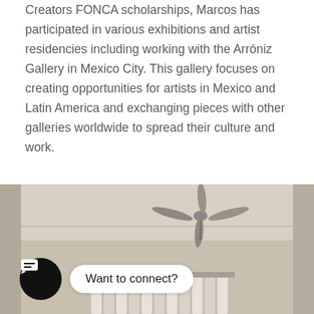Creators FONCA scholarships, Marcos has participated in various exhibitions and artist residencies including working with the Arróniz Gallery in Mexico City. This gallery focuses on creating opportunities for artists in Mexico and Latin America and exchanging pieces with other galleries worldwide to spread their culture and work.
[Figure (photo): Interior room photo showing a ceiling with a ceiling fan, walls, and curtains in neutral tones. A chat widget overlay is present with a black circular icon showing a message symbol and a white speech bubble reading 'Want to connect?']